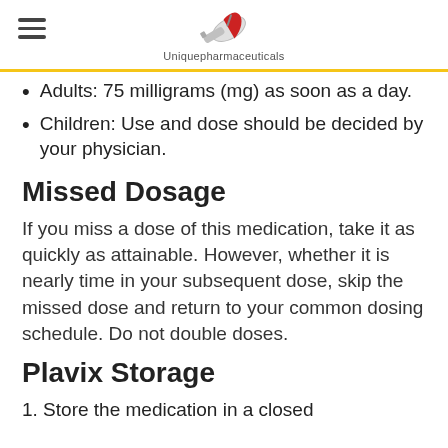Uniquepharmaceuticals
Adults: 75 milligrams (mg) as soon as a day.
Children: Use and dose should be decided by your physician.
Missed Dosage
If you miss a dose of this medication, take it as quickly as attainable. However, whether it is nearly time in your subsequent dose, skip the missed dose and return to your common dosing schedule. Do not double doses.
Plavix Storage
1. Store the medication in a closed